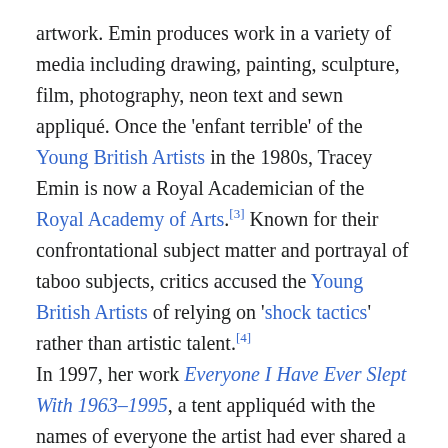artwork. Emin produces work in a variety of media including drawing, painting, sculpture, film, photography, neon text and sewn appliqué. Once the 'enfant terrible' of the Young British Artists in the 1980s, Tracey Emin is now a Royal Academician of the Royal Academy of Arts.[3] Known for their confrontational subject matter and portrayal of taboo subjects, critics accused the Young British Artists of relying on 'shock tactics' rather than artistic talent.[4]
In 1997, her work Everyone I Have Ever Slept With 1963–1995, a tent appliquéd with the names of everyone the artist had ever shared a bed with, was shown at Charles Saatchi's Sensation exhibition held at the Royal Academy in London. The same year, she gained considerable media exposure when she swore multiple times in an apparent